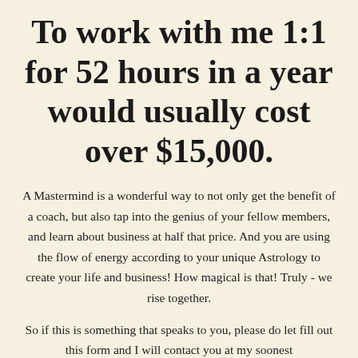To work with me 1:1 for 52 hours in a year would usually cost over $15,000.
A Mastermind is a wonderful way to not only get the benefit of a coach, but also tap into the genius of your fellow members, and learn about business at half that price. And you are using the flow of energy according to your unique Astrology to create your life and business! How magical is that! Truly - we rise together.
So if this is something that speaks to you, please do let fill out this form and I will contact you at my soonest